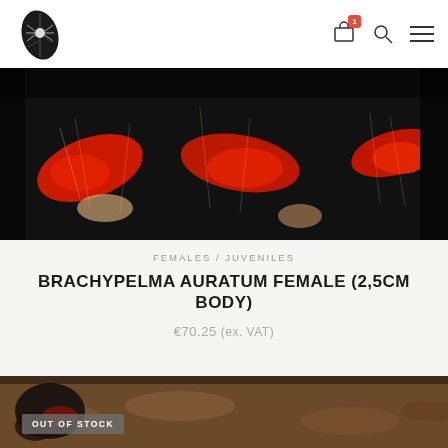Spider shop website header with logo and navigation icons (cart with badge 1, search, menu)
[Figure (photo): Close-up macro photo of a Brachypelma auratum tarantula showing vivid red and black coloring with hairy legs]
FEMALES / JUVENILES
BRACHYPELMA AURATUM FEMALE (2,5CM BODY)
€70.25 (ex. VAT)
[Figure (photo): Partial bottom photo of another spider or terrarium scene with OUT OF STOCK badge overlay]